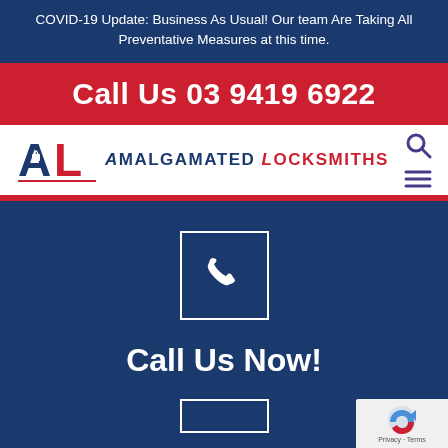COVID-19 Update: Business As Usual! Our team Are Taking All Preventative Measures at this time.
Call Us 03 9419 6922
[Figure (logo): Amalgamated Locksmiths logo with stylized AL text in blue and red]
Call Us Now!